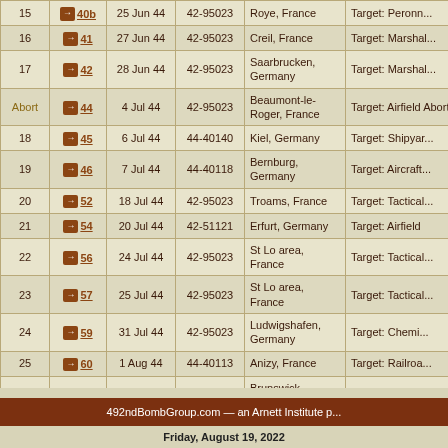| # | Link | Date | A/C | Location | Target |
| --- | --- | --- | --- | --- | --- |
| 15 | → 40b | 25 Jun 44 | 42-95023 | Roye, France | Target: Peronn... |
| 16 | → 41 | 27 Jun 44 | 42-95023 | Creil, France | Target: Marshal... |
| 17 | → 42 | 28 Jun 44 | 42-95023 | Saarbrucken, Germany | Target: Marshal... |
| Abort | → 44 | 4 Jul 44 | 42-95023 | Beaumont-le-Roger, France | Target: Airfield Aborted, uncre... |
| 18 | → 45 | 6 Jul 44 | 44-40140 | Kiel, Germany | Target: Shipyar... |
| 19 | → 46 | 7 Jul 44 | 44-40118 | Bernburg, Germany | Target: Aircraft... |
| 20 | → 52 | 18 Jul 44 | 42-95023 | Troams, France | Target: Tactical... |
| 21 | → 54 | 20 Jul 44 | 42-51121 | Erfurt, Germany | Target: Airfield |
| 22 | → 56 | 24 Jul 44 | 42-95023 | St Lo area, France | Target: Tactical... |
| 23 | → 57 | 25 Jul 44 | 42-95023 | St Lo area, France | Target: Tactical... |
| 24 | → 59 | 31 Jul 44 | 42-95023 | Ludwigshafen, Germany | Target: Chemi... |
| 25 | → 60 | 1 Aug 44 | 44-40113 | Anizy, France | Target: Railroa... |
| 26 | → 64 | 5 Aug 44 | 42-95023 | Brunswick, Germany | Target: Aircraft... |
| 27 | → 65 | 5 Aug 44 | 42-95023 | Hamburg, Germany | Target: Oil refin... |
| 28 | → 66 | 7 Aug 44 | 44-40173 | Ostend, Belgium | Target: Oil dum... |
492ndBombGroup.com — an Arnett Institute p...
Friday, August 19, 2022